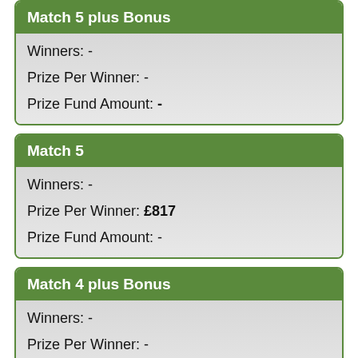Match 5 plus Bonus
Winners: -
Prize Per Winner: -
Prize Fund Amount: -
Match 5
Winners: -
Prize Per Winner: £817
Prize Fund Amount: -
Match 4 plus Bonus
Winners: -
Prize Per Winner: -
Prize Fund Amount: -
Match 4
Winners: -